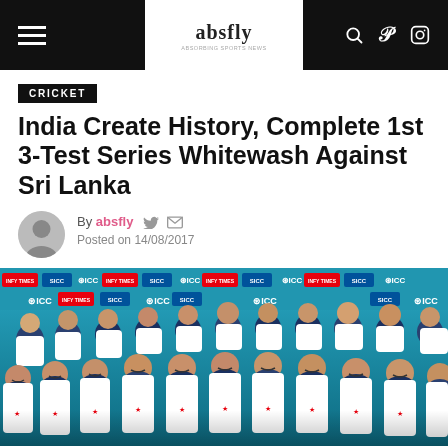absfly
CRICKET
India Create History, Complete 1st 3-Test Series Whitewash Against Sri Lanka
By absfly  Posted on 14/08/2017
[Figure (photo): Indian cricket team players posing together in front of ICC sponsor banners after their whitewash series win against Sri Lanka, all wearing white cricket jerseys and blue caps, smiling and celebrating.]